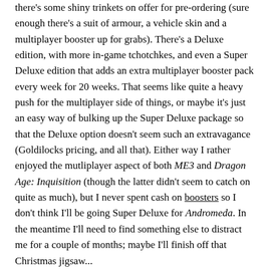there's some shiny trinkets on offer for pre-ordering (sure enough there's a suit of armour, a vehicle skin and a multiplayer booster up for grabs). There's a Deluxe edition, with more in-game tchotchkes, and even a Super Deluxe edition that adds an extra multiplayer booster pack every week for 20 weeks. That seems like quite a heavy push for the multiplayer side of things, or maybe it's just an easy way of bulking up the Super Deluxe package so that the Deluxe option doesn't seem such an extravagance (Goldilocks pricing, and all that). Either way I rather enjoyed the mutliplayer aspect of both ME3 and Dragon Age: Inquisition (though the latter didn't seem to catch on quite as much), but I never spent cash on boosters so I don't think I'll be going Super Deluxe for Andromeda. In the meantime I'll need to find something else to distract me for a couple of months; maybe I'll finish off that Christmas jigsaw...
This entry was posted in waffle on January 12, 2017 by Zoso.